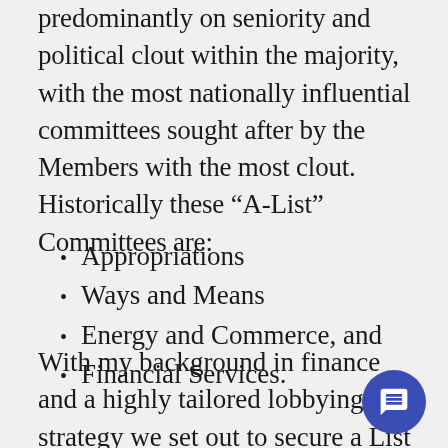predominantly on seniority and political clout within the majority, with the most nationally influential committees sought after by the Members with the most clout. Historically these “A-List” Committees are:
Appropriations
Ways and Means
Energy and Commerce, and
Financial Services.
With my background in finance and a highly tailored lobbying strategy we set out to secure a List Committee seat, not only the opportunities they would